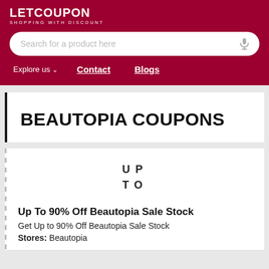LETCOUPON
SHOPPING WITH DISCOUNT
[Figure (screenshot): Search bar with microphone icon on dark red background]
Explore us   Contact   Blogs
BEAUTOPIA COUPONS
[Figure (infographic): UP TO badge text in spaced letters]
Up To 90% Off Beautopia Sale Stock
Get Up to 90% Off Beautopia Sale Stock
Stores: Beautopia